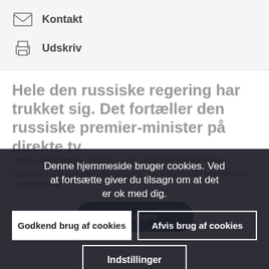Kontakt
Udskriv
Hele den russiske regering har trukket sig. Det fortæller den russiske premier-minister på direkte tv
Denne hjemmeside bruger cookies. Ved at fortsætte giver du tilsagn om at det er ok med dig.
Denne artikel kræver adgang via din skole eller folkebibliotek. Login med unilogin eller bibliotekslogin for adgang eller læs mere om mulighederne.
Godkend brug af cookies
Afvis brug af cookies
Læs mere
Indstillinger